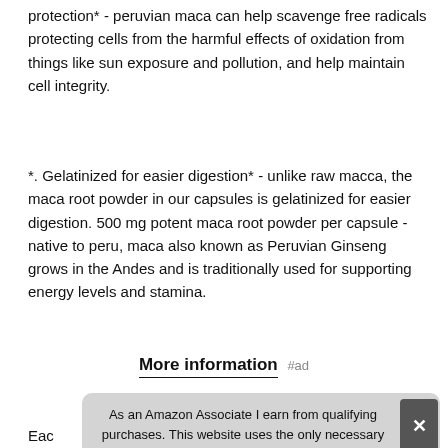protection* - peruvian maca can help scavenge free radicals protecting cells from the harmful effects of oxidation from things like sun exposure and pollution, and help maintain cell integrity.
*. Gelatinized for easier digestion* - unlike raw macca, the maca root powder in our capsules is gelatinized for easier digestion. 500 mg potent maca root powder per capsule - native to peru, maca also known as Peruvian Ginseng grows in the Andes and is traditionally used for supporting energy levels and stamina.
More information #ad
Each [partially obscured] pow[der] trad[itionally] cap[sule] to support sexual well-being.
As an Amazon Associate I earn from qualifying purchases. This website uses the only necessary cookies to ensure you get the best experience on our website. More information